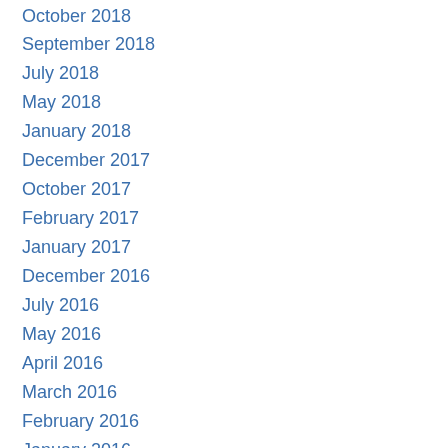October 2018
September 2018
July 2018
May 2018
January 2018
December 2017
October 2017
February 2017
January 2017
December 2016
July 2016
May 2016
April 2016
March 2016
February 2016
January 2016
December 2015
January 2015
December 2014
November 2014
October 2014